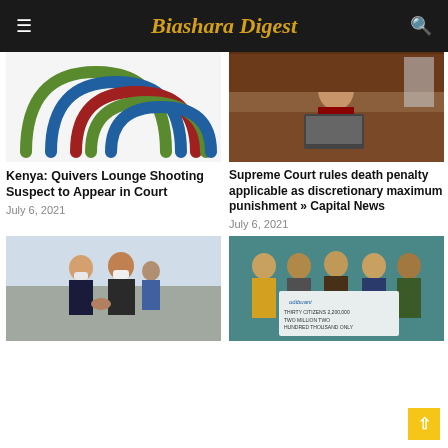Biashara Digest
[Figure (photo): Colorful interlocking arcs logo in green, blue, and red on white background]
[Figure (photo): Woman in judicial robes sitting at a desk with a laptop in a formal office]
Kenya: Quivers Lounge Shooting Suspect to Appear in Court
July 6, 2021
Supreme Court rules death penalty applicable as discretionary maximum punishment » Capital News
July 6, 2021
[Figure (photo): Two men in masks shaking hands outdoors, possibly at an airport]
[Figure (photo): Group of people posing with a large cheque from OdiBuani for two million two hundred thousand shillings]